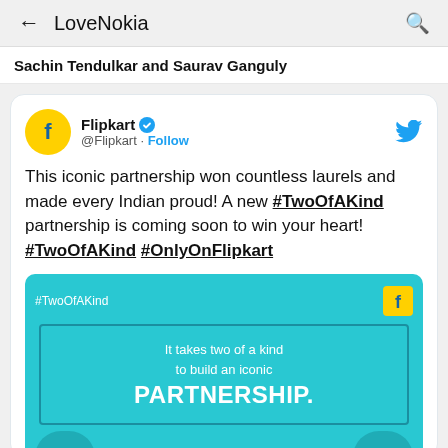← LoveNokia 🔍
Sachin Tendulkar and Saurav Ganguly
Flipkart ✓ @Flipkart · Follow

This iconic partnership won countless laurels and made every Indian proud! A new #TwoOfAKind partnership is coming soon to win your heart! #TwoOfAKind #OnlyOnFlipkart
[Figure (screenshot): Flipkart branded promotional image with teal background showing text '#TwoOfAKind' and 'It takes two of a kind to build an iconic PARTNERSHIP.' with Flipkart logo in corner]